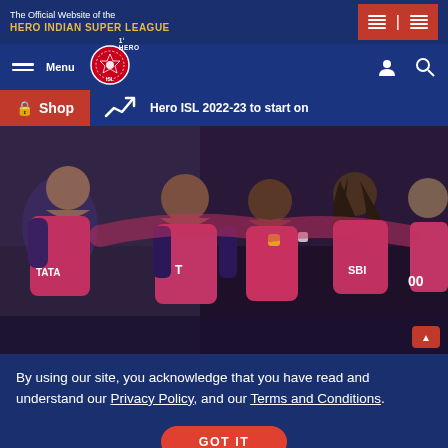The Official Website of the HERO INDIAN SUPER LEAGUE
[Figure (screenshot): Navigation bar with Menu, Hero ISL logo, user and search icons]
Shop
Hero ISL 2022-23 to start on
[Figure (photo): Football players in red and blue TATA jerseys celebrating together on the pitch]
By using our site, you acknowledge that you have read and understand our Privacy Policy, and our Terms and Conditions.
GOT IT